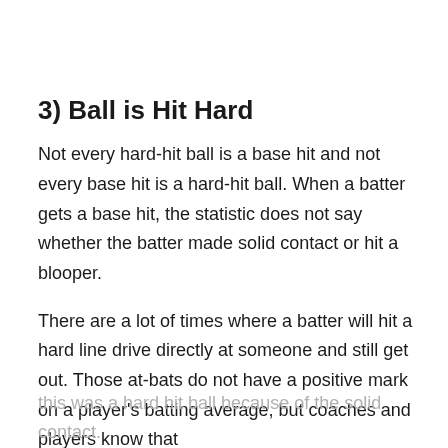3) Ball is Hit Hard
Not every hard-hit ball is a base hit and not every base hit is a hard-hit ball. When a batter gets a base hit, the statistic does not say whether the batter made solid contact or hit a blooper.
There are a lot of times where a batter will hit a hard line drive directly at someone and still get out. Those at-bats do not have a positive mark on a player's batting average, but coaches and players know that
this was a hard hit ball because of the solid contact.